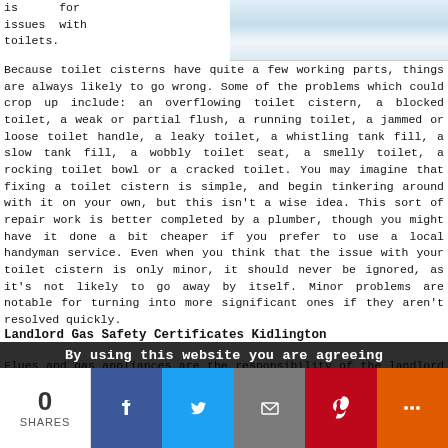[Figure (photo): Top portion of a toilet/bathroom fixture, white porcelain, visible in upper right area of the page.]
is for issues with toilets. Because toilet cisterns have quite a few working parts, things are always likely to go wrong. Some of the problems which could crop up include: an overflowing toilet cistern, a blocked toilet, a weak or partial flush, a running toilet, a jammed or loose toilet handle, a leaky toilet, a whistling tank fill, a slow tank fill, a wobbly toilet seat, a smelly toilet, a rocking toilet bowl or a cracked toilet. You may imagine that fixing a toilet cistern is simple, and begin tinkering around with it on your own, but this isn't a wise idea. This sort of repair work is better completed by a plumber, though you might have it done a bit cheaper if you prefer to use a local handyman service. Even when you think that the issue with your toilet cistern is only minor, it should never be ignored, as it's not likely to go away by itself. Minor problems are notable for turning into more significant ones if they aren't resolved quickly.
Landlord Gas Safety Certificates Kidlington
Flues and gas appliances are the responsibility of the landlord in all rented homes in Kidlington. There have to
By using this website you are agreeing
0
SHARES